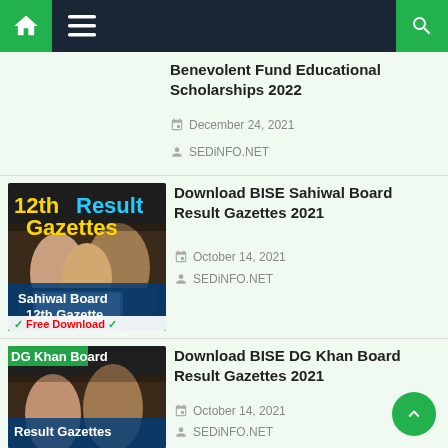Navigation bar with home, menu, and search icons
Benevolent Fund Educational Scholarships 2022
December 24, 2021
SEDiNFO.NET
[Figure (photo): 12th Result Gazettes - Sahiwal Board 12th Gazette - Free Download promotional image with children]
Download BISE Sahiwal Board Result Gazettes 2021
October 14, 2021
SEDiNFO.NET
[Figure (photo): DG Khan Board Result Gazettes promotional image with children]
Download BISE DG Khan Board Result Gazettes 2021
October 14, 2021
SEDiNFO.NET